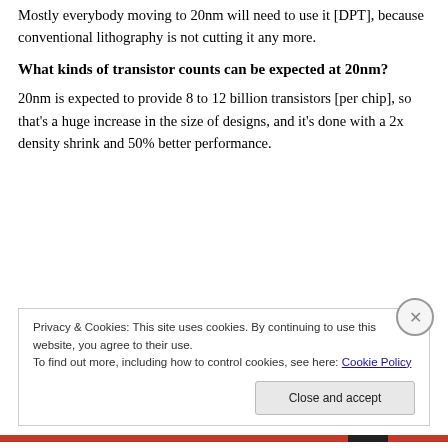Mostly everybody moving to 20nm will need to use it [DPT], because conventional lithography is not cutting it any more.
What kinds of transistor counts can be expected at 20nm?
20nm is expected to provide 8 to 12 billion transistors [per chip], so that's a huge increase in the size of designs, and it's done with a 2x density shrink and 50% better performance.
Privacy & Cookies: This site uses cookies. By continuing to use this website, you agree to their use.
To find out more, including how to control cookies, see here: Cookie Policy